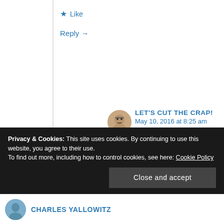★ Like
Reply →
LET'S CUT THE CRAP!
May 10, 2016 at 8:25 am
Recommendations are mega valuable. Thanks, Rachael. 😉
★ Liked by 1 person
Reply →
Privacy & Cookies: This site uses cookies. By continuing to use this website, you agree to their use.
To find out more, including how to control cookies, see here: Cookie Policy
Close and accept
CHARLES YALLOWITZ